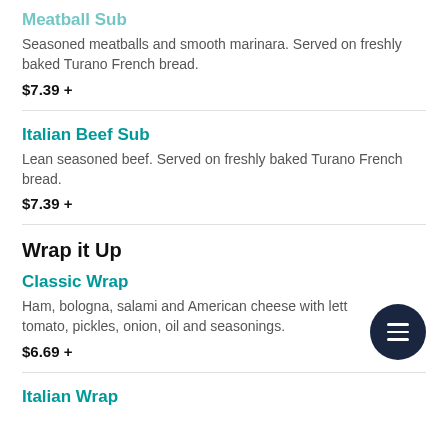Meatball Sub
Seasoned meatballs and smooth marinara. Served on freshly baked Turano French bread.
$7.39 +
Italian Beef Sub
Lean seasoned beef. Served on freshly baked Turano French bread.
$7.39 +
Wrap it Up
Classic Wrap
Ham, bologna, salami and American cheese with lettuce, tomato, pickles, onion, oil and seasonings.
$6.69 +
Italian Wrap